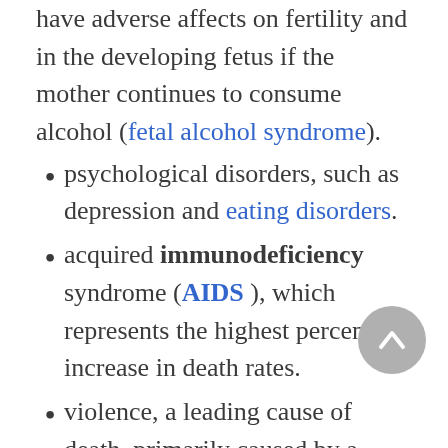have adverse affects on fertility and in the developing fetus if the mother continues to consume alcohol (fetal alcohol syndrome).
psychological disorders, such as depression and eating disorders.
acquired immunodeficiency syndrome (AIDS), which represents the highest percent increase in death rates.
violence, a leading cause of death, primarily caused by a perpetrator who is or was a...